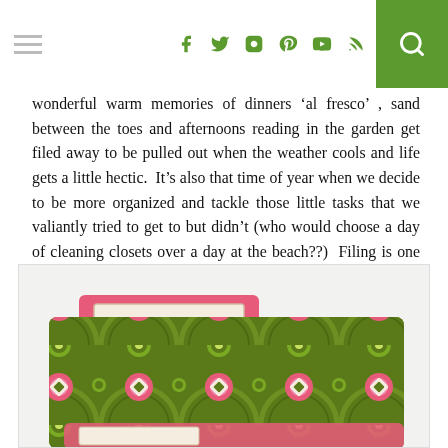[hamburger menu] [social icons: f, twitter, instagram, pinterest, youtube, rss] [search]
wonderful warm memories of dinners 'al fresco', sand between the toes and afternoons reading in the garden get filed away to be pulled out when the weather cools and life gets a little hectic.  It's also that time of year when we decide to be more organized and tackle those little tasks that we valiantly tried to get to but didn't (who would choose a day of cleaning closets over a day at the beach??)  Filing is one of those jobs that always ends up at the bottom of our list but this fall, we've decided to file in style with these fashionable floral folders.
[Figure (illustration): A decorative file folder with a green and pink floral/mandala pattern, featuring a pink tab label area at the top and a label rectangle on the tab.]